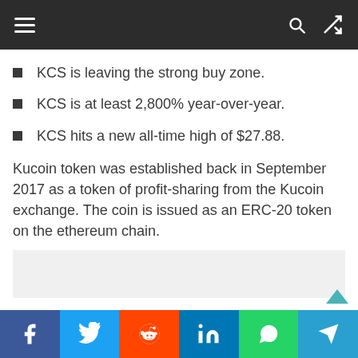Navigation bar with menu, search, and shuffle icons
KCS is leaving the strong buy zone.
KCS is at least 2,800% year-over-year.
KCS hits a new all-time high of $27.88.
Kucoin token was established back in September 2017 as a token of profit-sharing from the Kucoin exchange. The coin is issued as an ERC-20 token on the ethereum chain.
Social share buttons: Facebook, Twitter, Reddit, LinkedIn, WhatsApp, Telegram